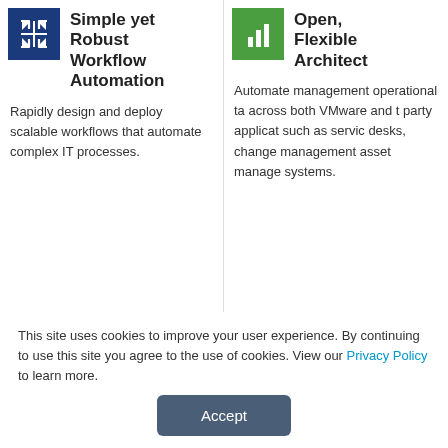[Figure (logo): Blue square icon with four arrows pointing inward (compress/expand icon)]
Simple yet Robust Workflow Automation
Rapidly design and deploy scalable workflows that automate complex IT processes.
[Figure (logo): Green square icon with bar chart bars]
Open, Flexible Architect
Automate management operational ta across both VMware and t party applicat such as servic desks, change management asset manage systems.
This site uses cookies to improve your user experience. By continuing to use this site you agree to the use of cookies. View our Privacy Policy to learn more.
Accept